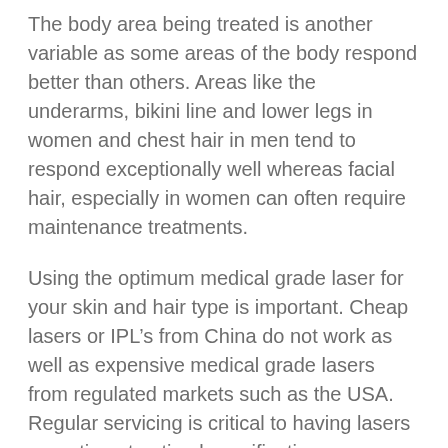The body area being treated is another variable as some areas of the body respond better than others. Areas like the underarms, bikini line and lower legs in women and chest hair in men tend to respond exceptionally well whereas facial hair, especially in women can often require maintenance treatments.
Using the optimum medical grade laser for your skin and hair type is important. Cheap lasers or IPL's from China do not work as well as expensive medical grade lasers from regulated markets such as the USA. Regular servicing is critical to having lasers operating at optimal specifications.
Having the treatment performed by an experienced and well trained laser practitioner is also very important. Even if a medical grade laser is being used, it needs someone well trained in its use to have it perform optimally for maximal effectiveness and to use it safely for minimal side effects.